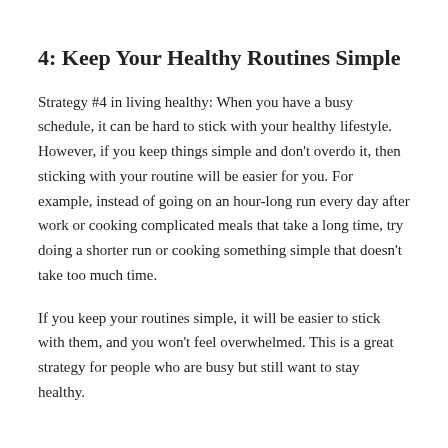4: Keep Your Healthy Routines Simple
Strategy #4 in living healthy: When you have a busy schedule, it can be hard to stick with your healthy lifestyle. However, if you keep things simple and don’t overdo it, then sticking with your routine will be easier for you. For example, instead of going on an hour-long run every day after work or cooking complicated meals that take a long time, try doing a shorter run or cooking something simple that doesn’t take too much time.
If you keep your routines simple, it will be easier to stick with them, and you won’t feel overwhelmed. This is a great strategy for people who are busy but still want to stay healthy.